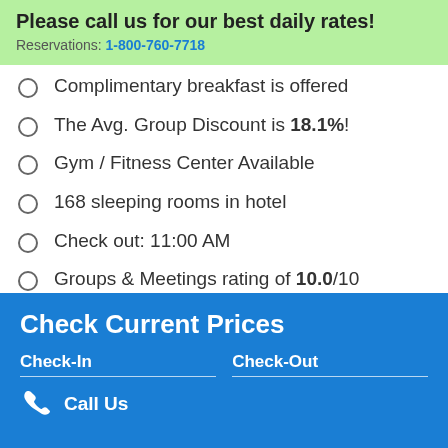Please call us for our best daily rates!
Reservations: 1-800-760-7718
Complimentary breakfast is offered
The Avg. Group Discount is 18.1%!
Gym / Fitness Center Available
168 sleeping rooms in hotel
Check out: 11:00 AM
Groups & Meetings rating of 10.0/10
7 meeting rooms in property
Check Current Prices
Check-In   Check-Out
Call Us